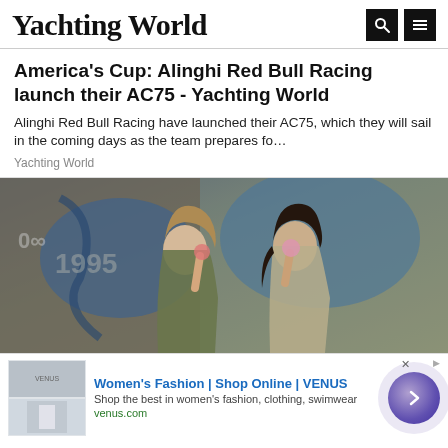Yachting World
America's Cup: Alinghi Red Bull Racing launch their AC75 - Yachting World
Alinghi Red Bull Racing have launched their AC75, which they will sail in the coming days as the team prepares fo…
Yachting World
[Figure (photo): Two young women eating ice cream in front of a graffiti wall]
Women's Fashion | Shop Online | VENUS
Shop the best in women's fashion, clothing, swimwear
venus.com